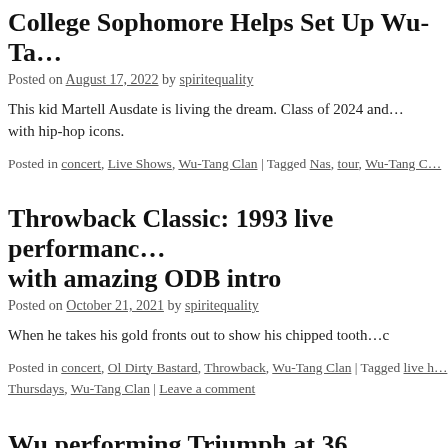College Sophomore Helps Set Up Wu-Ta…
Posted on August 17, 2022 by spiritequality
This kid Martell Ausdate is living the dream. Class of 2024 and… with hip-hop icons.
Posted in concert, Live Shows, Wu-Tang Clan | Tagged Nas, tour, Wu-Tang C…
Throwback Classic: 1993 live performanc… with amazing ODB intro
Posted on October 21, 2021 by spiritequality
When he takes his gold fronts out to show his chipped tooth…c
Posted in concert, Ol Dirty Bastard, Throwback, Wu-Tang Clan | Tagged live h… Thursdays, Wu-Tang Clan | Leave a comment
Wu performing Triumph at 36 Chambers…
Posted on September 30, 2021 by spiritequality